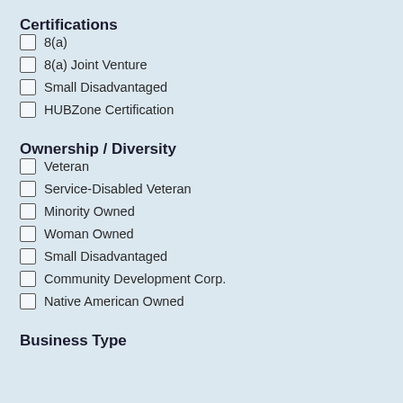Certifications
8(a)
8(a) Joint Venture
Small Disadvantaged
HUBZone Certification
Ownership / Diversity
Veteran
Service-Disabled Veteran
Minority Owned
Woman Owned
Small Disadvantaged
Community Development Corp.
Native American Owned
Business Type